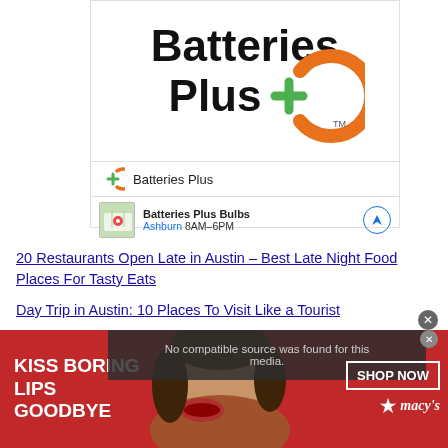[Figure (logo): Batteries Plus logo — large text 'Batteries Plus' with orange arc and green plus symbol]
Batteries Plus
Batteries Plus Bulbs
Ashburn 8AM–6PM
20 Restaurants Open Late in Austin – Best Late Night Food Places For Tasty Eats
Day Trip in Austin: 10 Places To Visit Like a Tourist
No compatible source was found for this media.
[Figure (photo): Macy's advertisement: 'KISS BORING LIPS GOODBYE' with woman's face and red lips, SHOP NOW button and Macy's star logo]